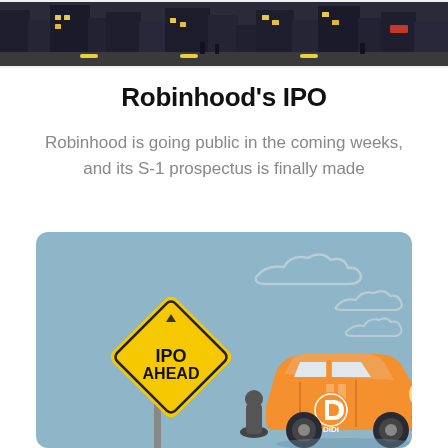[Figure (photo): Top banner image showing a busy city street scene, dark-toned photograph of urban area with people and buildings]
Robinhood's IPO
Robinhood is going public in the coming weeks, and its S-1 prospectus is finally made
[Figure (illustration): Illustration of an IPO caution sign (yellow diamond-shaped road sign with black text reading IPO AHEAD on a post) alongside an orange Didi taxi car on a light blue background with white cloud shapes]